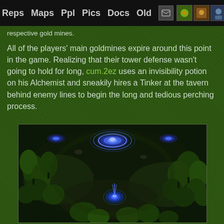Reps  Maps  Ppl  Pics  Docs  Old  [icon]
respective gold mines.
All of the players' main goldmines expire around this point in the game. Realizing that their tower defense wasn't going to hold for long, cum.2ez uses an invisibility potion on his Alchemist and sneakily hires a Tinker at the tavern behind enemy lines to begin the long and tedious perching process.
[Figure (screenshot): Warcraft III game screenshot showing a dark forested map with trees, a blue glowing portal/fountain structure in the upper center area and another blue glowing unit in the lower center, on a dark nighttime terrain.]